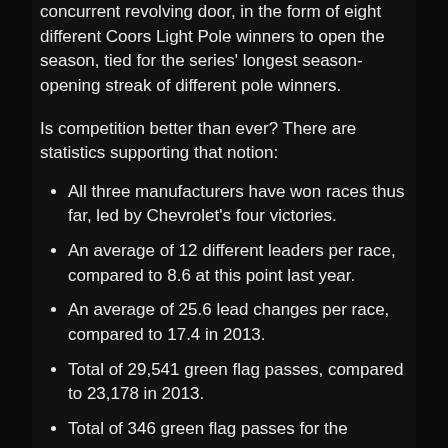concurrent revolving door, in the form of eight different Coors Light Pole winners to open the season, tied for the series' longest season-opening streak of different pole winners.
Is competition better than ever? There are statistics supporting that notion:
All three manufacturers have won races thus far, led by Chevrolet's four victories.
An average of 12 different leaders per race, compared to 8.6 at this point last year.
An average of 25.6 lead changes per race, compared to 17.4 in 2013.
Total of 29,541 green flag passes, compared to 23,178 in 2013.
Total of 346 green flag passes for the